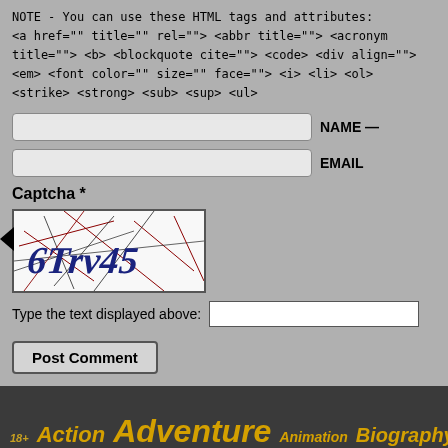NOTE - You can use these HTML tags and attributes:
<a href="" title="" rel=""> <abbr title=""> <acronym title=""> <b> <blockquote cite=""> <code> <div align=""> <em> <font color="" size="" face=""> <i> <li> <ol> <strike> <strong> <sub> <sup> <ul>
NAME —
EMAIL
Captcha *
[Figure (other): CAPTCHA image showing distorted text '6Trv45' with blue text and red/black crack lines on white background]
Type the text displayed above:
Post Comment
18+ Action Adventure Animation Biography Blu-ray Co... Experimental Family Fantasy, Sci-Fi History Horror Mus...